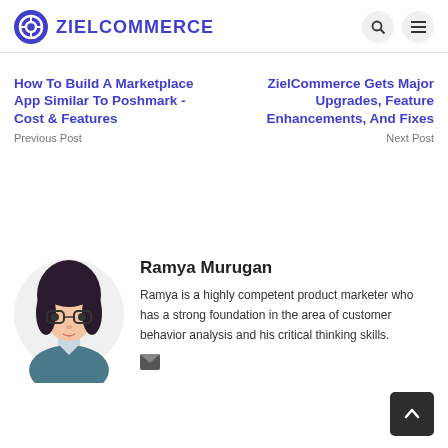ZIELCOMMERCE
How To Build A Marketplace App Similar To Poshmark - Cost & Features
Previous Post
ZielCommerce Gets Major Upgrades, Feature Enhancements, And Fixes
Next Post
Ramya Murugan
Ramya is a highly competent product marketer who has a strong foundation in the area of customer behavior analysis and his critical thinking skills.